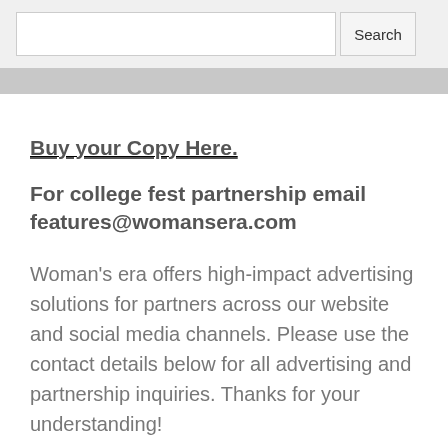Search
Buy your Copy Here.
For college fest partnership email features@womansera.com
Woman's era offers high-impact advertising solutions for partners across our website and social media channels. Please use the contact details below for all advertising and partnership inquiries. Thanks for your understanding!